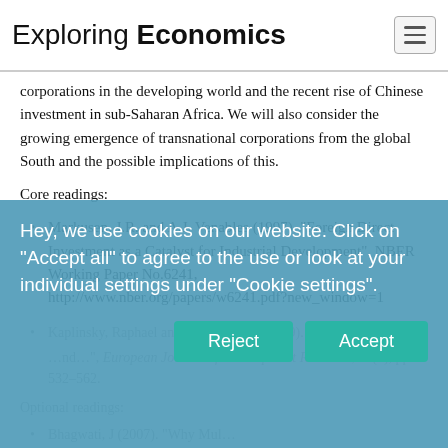Exploring Economics
corporations in the developing world and the recent rise of Chinese investment in sub-Saharan Africa. We will also consider the growing emergence of transnational corporations from the global South and the possible implications of this.
Core readings:
Markusen, J.R. and A.J. Venables (1997). “Foreign Direct Investment as a Catalyst for Industrial Development”. NBER Working Paper No.6241, http://www.nber.org/papers/w6241.pdf?new_window=1
Kaplinsky, Raphael and Morris, Mike (2009). “Chinese ...
Optional readings:
Bhagwati, J (2007). “Why Mul... Poverty”. The World Economy, pp. 211–228
Hey, we use cookies on our website. Click on "Accept all" to agree to the use or look at your individual settings under "Cookie settings".